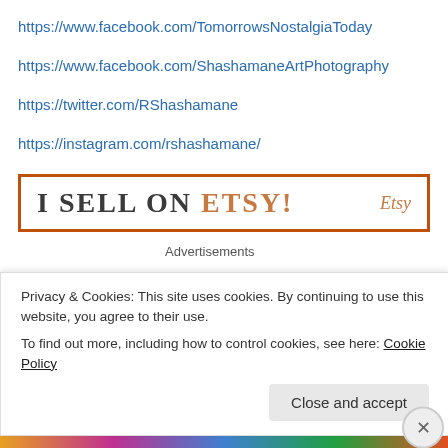https://www.facebook.com/TomorrowsNostalgiaToday
https://www.facebook.com/ShashamaneArtPhotography
https://twitter.com/RShashamane
https://instagram.com/rshashamane/
[Figure (other): I SELL ON ETSY! banner with orange border and Etsy logo]
Advertisements
[Figure (other): Black advertisement banner]
Privacy & Cookies: This site uses cookies. By continuing to use this website, you agree to their use.
To find out more, including how to control cookies, see here: Cookie Policy
Close and accept